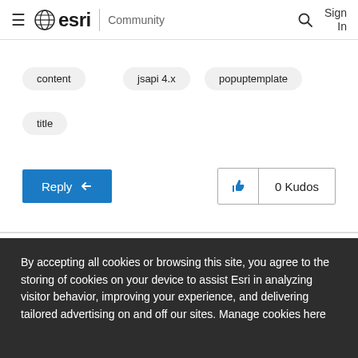esri Community
content
jsapi 4.x
popuptemplate
title
Reply  0 Kudos
By accepting all cookies or browsing this site, you agree to the storing of cookies on your device to assist Esri in analyzing visitor behavior, improving your experience, and delivering tailored advertising on and off our sites. Manage cookies here